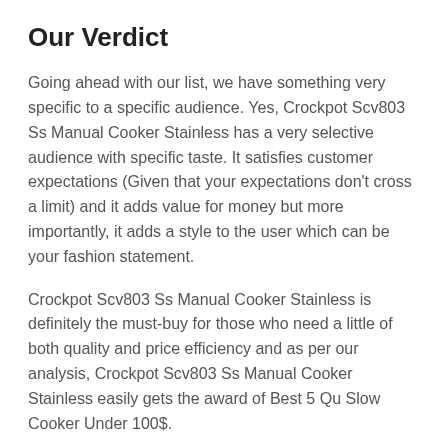Our Verdict
Going ahead with our list, we have something very specific to a specific audience. Yes, Crockpot Scv803 Ss Manual Cooker Stainless has a very selective audience with specific taste. It satisfies customer expectations (Given that your expectations don’t cross a limit) and it adds value for money but more importantly, it adds a style to the user which can be your fashion statement.
Crockpot Scv803 Ss Manual Cooker Stainless is definitely the must-buy for those who need a little of both quality and price efficiency and as per our analysis, Crockpot Scv803 Ss Manual Cooker Stainless easily gets the award of Best 5 Qu Slow Cooker Under 100$.
4. Breville Bpr700bss Function Brushed